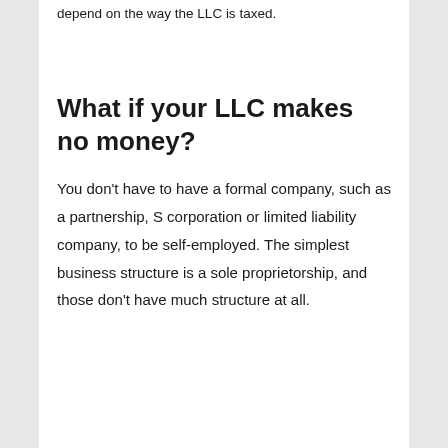depend on the way the LLC is taxed.
What if your LLC makes no money?
You don't have to have a formal company, such as a partnership, S corporation or limited liability company, to be self-employed. The simplest business structure is a sole proprietorship, and those don't have much structure at all.